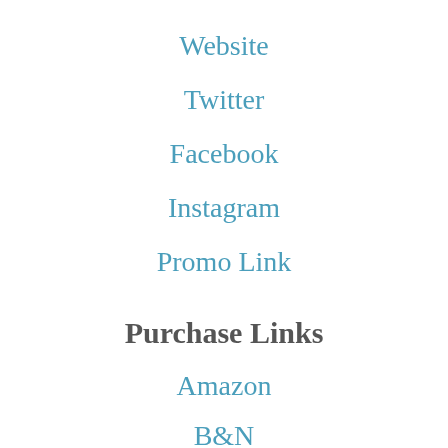Website
Twitter
Facebook
Instagram
Promo Link
Purchase Links
Amazon
B&N
[Figure (logo): RABT logo — white script text on black background with golden/orange brush stroke]